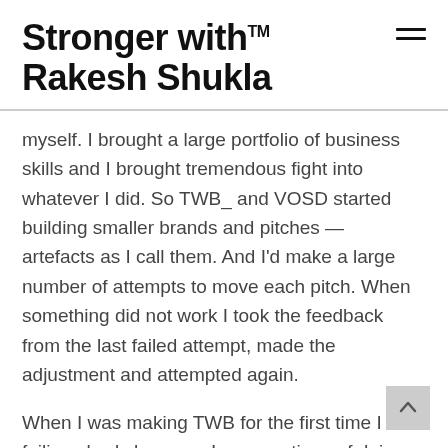Stronger with™ Rakesh Shukla
myself. I brought a large portfolio of business skills and I brought tremendous fight into whatever I did. So TWB_ and VOSD started building smaller brands and pitches — artefacts as I call them. And I'd make a large number of attempts to move each pitch. When something did not work I took the feedback from the last failed attempt, made the adjustment and attempted again.
When I was making TWB for the first time I was failing slowly because I was cautious of doing things with the resources I had and not letting them go to waste. On the other hand, when I had